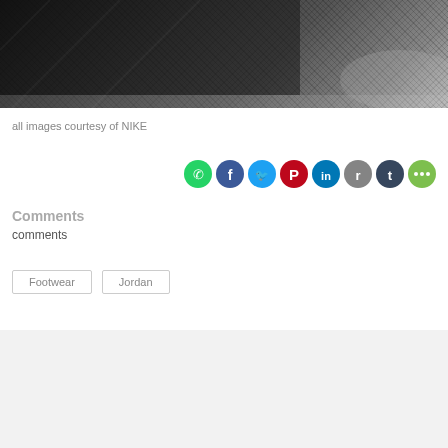[Figure (photo): Close-up black and white photo of a Nike sneaker showing mesh fabric texture and rubber sole detail]
all images courtesy of NIKE
[Figure (infographic): Social share buttons: WhatsApp (green), Facebook (blue), Twitter (light blue), Pinterest (red), LinkedIn (blue), Reddit (grey), Tumblr (dark blue), More (green)]
Comments
comments
Footwear
Jordan
Navdy: 'Google Glass for your car'